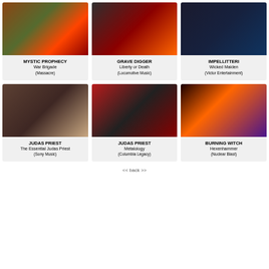[Figure (photo): Album cover for Mystic Prophecy - War Brigade]
MYSTIC PROPHECY
War Brigade
(Massacre)
[Figure (photo): Album cover for Grave Digger - Liberty or Death]
GRAVE DIGGER
Liberty or Death
(Locomotive Music)
[Figure (photo): Album cover for Impellitteri - Wicked Maiden]
IMPELLITTERI
Wicked Maiden
(Victor Entertainment)
[Figure (photo): Album cover for Judas Priest - The Essential Judas Priest]
JUDAS PRIEST
The Essential Judas Priest
(Sony Music)
[Figure (photo): Album cover for Judas Priest - Metalology]
JUDAS PRIEST
Metalology
(Columbia Legacy)
[Figure (photo): Album cover for Burning Witch - Hexenhammer]
BURNING WITCH
Hexenhammer
(Nuclear Blast)
<< back >>